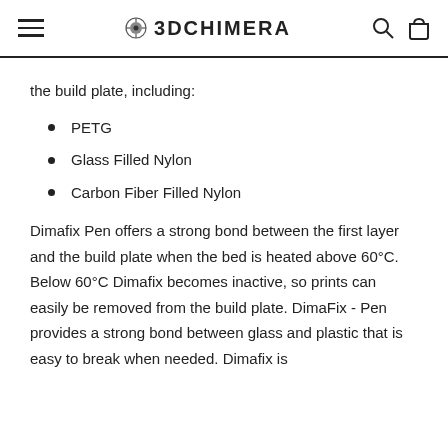3DCHIMERA
the build plate, including:
PETG
Glass Filled Nylon
Carbon Fiber Filled Nylon
Dimafix Pen offers a strong bond between the first layer and the build plate when the bed is heated above 60°C. Below 60°C Dimafix becomes inactive, so prints can easily be removed from the build plate. DimaFix - Pen provides a strong bond between glass and plastic that is easy to break when needed. Dimafix is